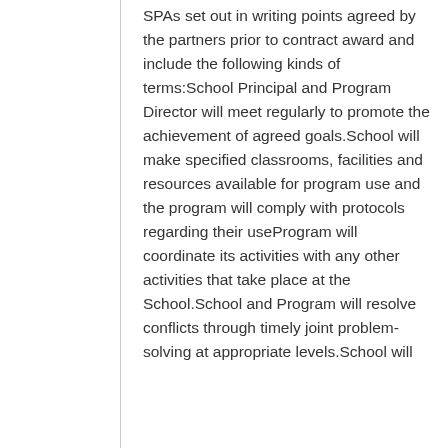SPAs set out in writing points agreed by the partners prior to contract award and include the following kinds of terms:School Principal and Program Director will meet regularly to promote the achievement of agreed goals.School will make specified classrooms, facilities and resources available for program use and the program will comply with protocols regarding their useProgram will coordinate its activities with any other activities that take place at the School.School and Program will resolve conflicts through timely joint problem-solving at appropriate levels.School will